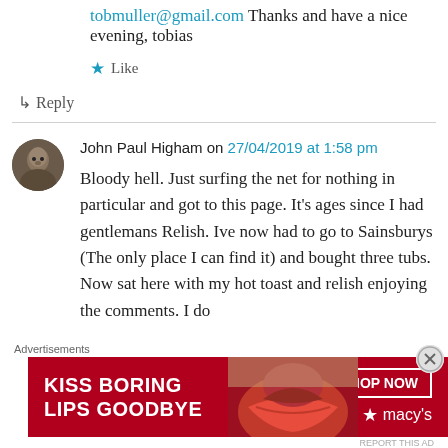tobmuller@gmail.com Thanks and have a nice evening, tobias
★ Like
↳ Reply
John Paul Higham on 27/04/2019 at 1:58 pm
Bloody hell. Just surfing the net for nothing in particular and got to this page. It's ages since I had gentlemans Relish. Ive now had to go to Sainsburys (The only place I can find it) and bought three tubs. Now sat here with my hot toast and relish enjoying the comments. I do
Advertisements
[Figure (infographic): Macy's advertisement banner: 'KISS BORING LIPS GOODBYE' with red background, lips image, SHOP NOW button, and Macy's logo with star.]